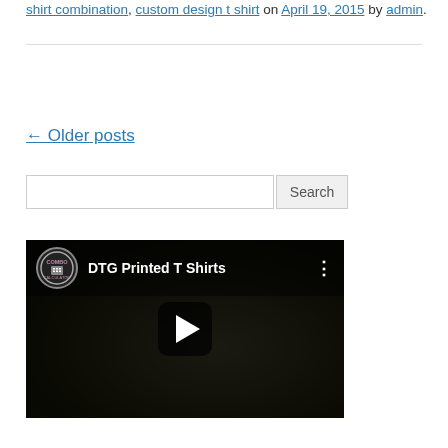shirt combination, custom design t shirt on April 19, 2015 by admin.
← Older posts
[Figure (screenshot): Search bar with text input field and Search button]
[Figure (screenshot): YouTube video embed titled 'DTG Printed T Shirts' with Combo Calculator channel logo, play button, dark background with decorative imagery]